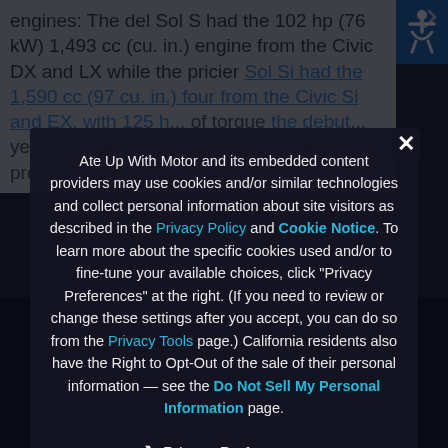engines: The del Sol S had the 102 hp (76 kW) 1,493 cc (cu. in.) engine from the Civic DX and LX while the pricier Sol Si had the 1,590 cc (97 cu. in.) four from the Civic Si and EX, with 125 hp... of torque... the debut... years did get... 1995, but the T... ain probably m... 150hp
Ate Up With Motor and its embedded content providers may use cookies and/or similar technologies and collect personal information about site visitors as described in the Privacy Policy and Cookie Notice. To learn more about the specific cookies used and/or to fine-tune your available choices, click "Privacy Preferences" at the right. (If you need to review or change these settings after you accept, you can do so from the Privacy Tools page.) California residents also have the Right to Opt-Out of the sale of their personal information — see the Do Not Sell My Personal Information page.
❯ Privacy Preferences
I Agree